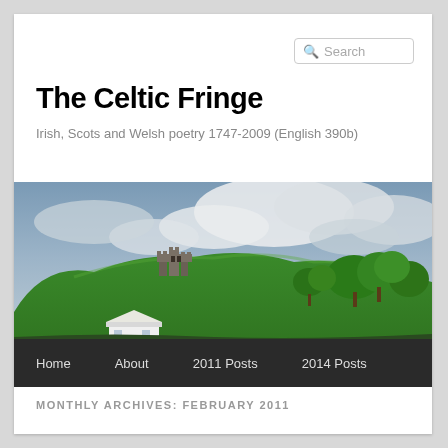Search
The Celtic Fringe
Irish, Scots and Welsh poetry 1747-2009 (English 390b)
[Figure (photo): Landscape photo of a green hillside with a medieval castle ruin on top, white farmhouse at the base, dramatic cloudy sky in background — Irish or Welsh countryside scene.]
Home  About  2011 Posts  2014 Posts
MONTHLY ARCHIVES: FEBRUARY 2011